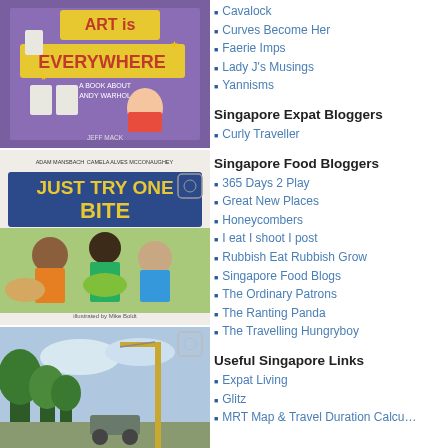[Figure (photo): Book cover: 'Art is Everywhere – A Book About Andy Warhol' by Jeff Mack, purple background with cartoon Andy Warhol and soup cans]
[Figure (photo): Book cover: 'Just Try One Bite' by Adam Mansbach & Camela Alves McConaughey, illustrated by Mike Boldt, showing diverse children with food]
[Figure (photo): Outdoor photo showing trees and construction crane against sky]
Cavalock
Curves Become Her
Faerie Imps
Lady J's Musings
Yannisms
Singapore Expat Bloggers
Curly Traveller
Singapore Food Bloggers
365 Days 2 Play
Great New Places
Honeycombers
I eat I shoot I post
Rubbish Eat Rubbish Grow
Singapore Food Blogs
The Ordinary Patrons
The Ranting Panda
The Travelling Hungryboy
Useful Singapore Links
Expat Living
Glitz
MRT Map & Travel Duration Calcu...